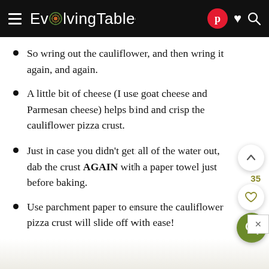EvolvingTable
So wring out the cauliflower, and then wring it again, and again.
A little bit of cheese (I use goat cheese and Parmesan cheese) helps bind and crisp the cauliflower pizza crust.
Just in case you didn't get all of the water out, dab the crust AGAIN with a paper towel just before baking.
Use parchment paper to ensure the cauliflower pizza crust will slide off with ease!